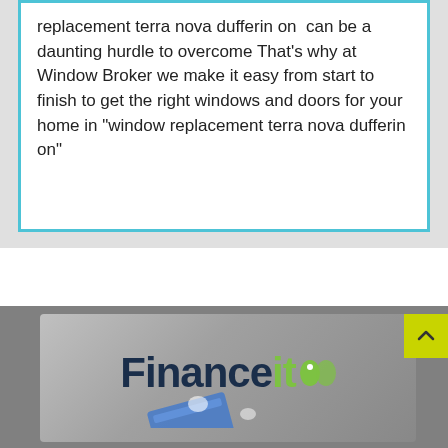replacement terra nova dufferin on  can be a daunting hurdle to overcome That's why at Window Broker we make it easy from start to finish to get the right windows and doors for your home in "window replacement terra nova dufferin on"
[Figure (logo): Financeit logo with dark blue 'Finance' text and lime green 'it' text followed by a green tag/label icon, on a metallic gradient background with decorative card-like illustration]